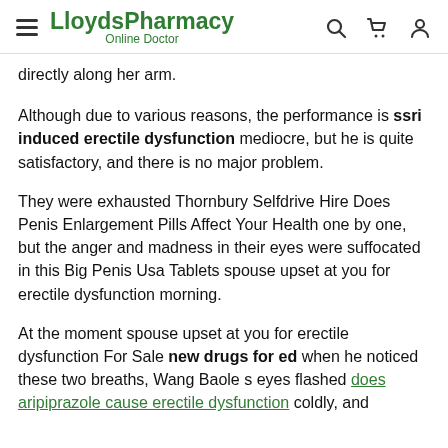LloydsPharmacy Online Doctor
directly along her arm.
Although due to various reasons, the performance is ssri induced erectile dysfunction mediocre, but he is quite satisfactory, and there is no major problem.
They were exhausted Thornbury Selfdrive Hire Does Penis Enlargement Pills Affect Your Health one by one, but the anger and madness in their eyes were suffocated in this Big Penis Usa Tablets spouse upset at you for erectile dysfunction morning.
At the moment spouse upset at you for erectile dysfunction For Sale new drugs for ed when he noticed these two breaths, Wang Baole s eyes flashed does aripiprazole cause erectile dysfunction coldly, and